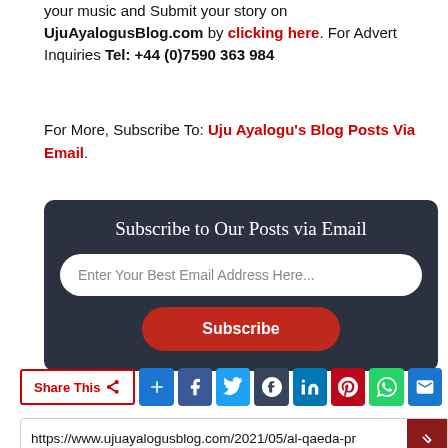your music and Submit your story on UjuAyalogusBlog.com by clicking here. For Advert Inquiries Tel: +44 (0)7590 363 984
For More, Subscribe To: Uju Ayalogu's Blog Posts Via Email.
[Figure (other): Subscribe to Our Posts via Email widget with email input field and Subscribe button on dark background]
Share This [share icon] [social media icons: Add, Facebook, Twitter, Tumblr, LinkedIn, Pinterest, WhatsApp, Email]
https://www.ujuayalogusblog.com/2021/05/al-qaeda-pr